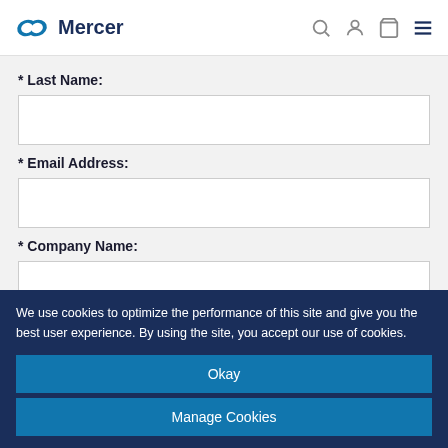Mercer
* Last Name:
* Email Address:
* Company Name:
We use cookies to optimize the performance of this site and give you the best user experience. By using the site, you accept our use of cookies.
Okay
Manage Cookies